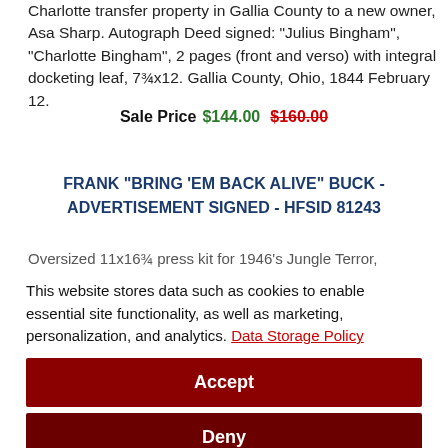Charlotte transfer property in Gallia County to a new owner, Asa Sharp. Autograph Deed signed: "Julius Bingham", "Charlotte Bingham", 2 pages (front and verso) with integral docketing leaf, 7¾x12. Gallia County, Ohio, 1844 February 12.
Sale Price $144.00  $160.00
FRANK "BRING 'EM BACK ALIVE" BUCK - ADVERTISEMENT SIGNED - HFSID 81243
Oversized 11x16¾ press kit for 1946's Jungle Terror,
This website stores data such as cookies to enable essential site functionality, as well as marketing, personalization, and analytics. Data Storage Policy
Accept
Deny